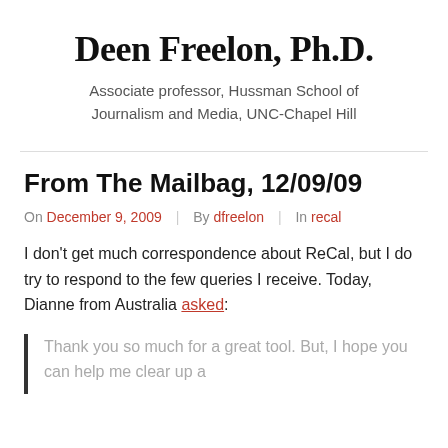Deen Freelon, Ph.D.
Associate professor, Hussman School of Journalism and Media, UNC-Chapel Hill
From The Mailbag, 12/09/09
On December 9, 2009  |  By dfreelon  |  In recal
I don't get much correspondence about ReCal, but I do try to respond to the few queries I receive. Today, Dianne from Australia asked:
Thank you so much for a great tool. But, I hope you can help me clear up a